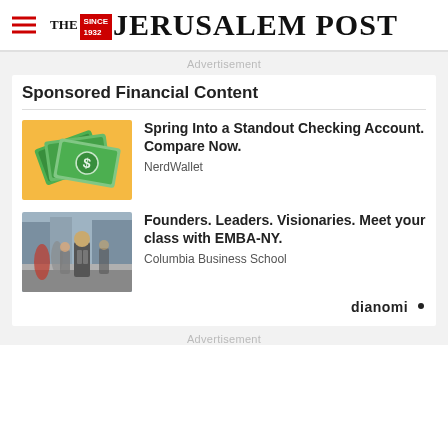THE JERUSALEM POST
Advertisement
Sponsored Financial Content
[Figure (illustration): Illustration of green dollar bills/cash on orange background]
Spring Into a Standout Checking Account. Compare Now.
NerdWallet
[Figure (photo): Street scene photo with businessman in suit walking on busy urban sidewalk]
Founders. Leaders. Visionaries. Meet your class with EMBA-NY.
Columbia Business School
dianomi
Advertisement